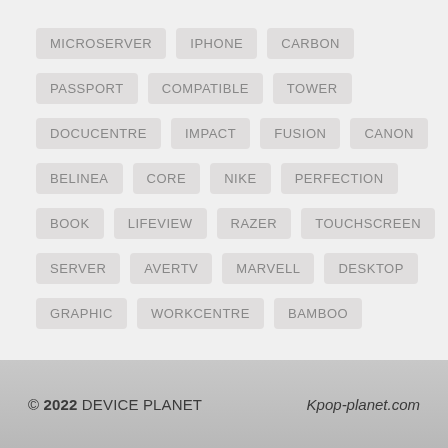MICROSERVER
IPHONE
CARBON
PASSPORT
COMPATIBLE
TOWER
DOCUCENTRE
IMPACT
FUSION
CANON
BELINEA
CORE
NIKE
PERFECTION
BOOK
LIFEVIEW
RAZER
TOUCHSCREEN
SERVER
AVERTV
MARVELL
DESKTOP
GRAPHIC
WORKCENTRE
BAMBOO
© 2022 DEVICE PLANET   Kpop-planet.com